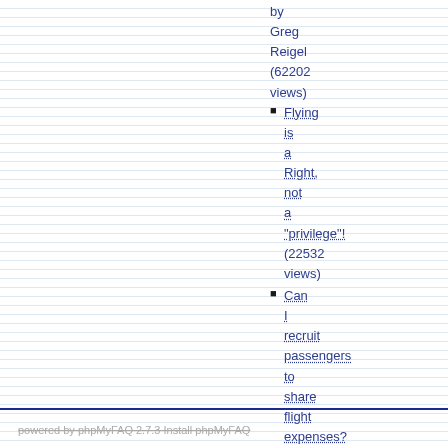by Greg Reigel (62202 views)
Flying is a Right, not a "privilege"! (22532 views)
Can I recruit passengers to share flight expenses? (10431 views)
powered by phpMyFAQ 2.7.3 Install phpMyFAQ